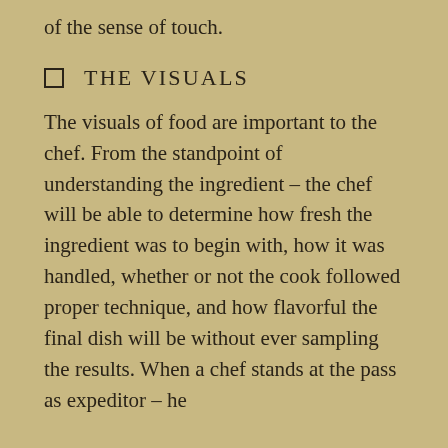of the sense of touch.
[] THE VISUALS
The visuals of food are important to the chef. From the standpoint of understanding the ingredient – the chef will be able to determine how fresh the ingredient was to begin with, how it was handled, whether or not the cook followed proper technique, and how flavorful the final dish will be without ever sampling the results. When a chef stands at the pass as expeditor – he